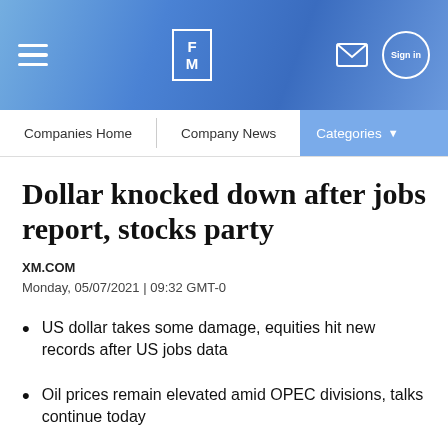FM — Companies Home | Company News | Categories
Dollar knocked down after jobs report, stocks party
XM.COM
Monday, 05/07/2021 | 09:32 GMT-0
US dollar takes some damage, equities hit new records after US jobs data
Oil prices remain elevated amid OPEC divisions, talks continue today